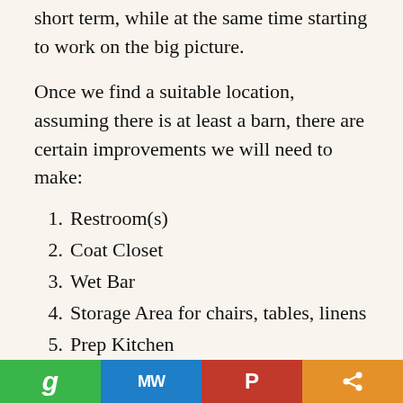short term, while at the same time starting to work on the big picture.
Once we find a suitable location, assuming there is at least a barn, there are certain improvements we will need to make:
Restroom(s)
Coat Closet
Wet Bar
Storage Area for chairs, tables, linens
Prep Kitchen
I am in the process of collecting information about rates for events. I have a very good friend in the hospitality industry who has offered to help me get
g | MW | P | share